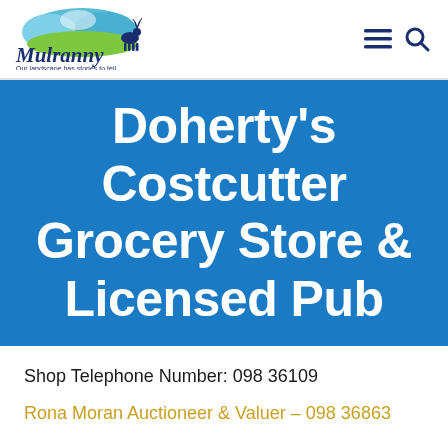[Figure (logo): Mulranny logo with landscape graphic and tagline 'Our landscape has stories to tell']
Doherty's Costcutter Grocery Store & Licensed Pub
Shop Telephone Number: 098 36109
Rona Moran Auctioneer & Valuer – 098 36863